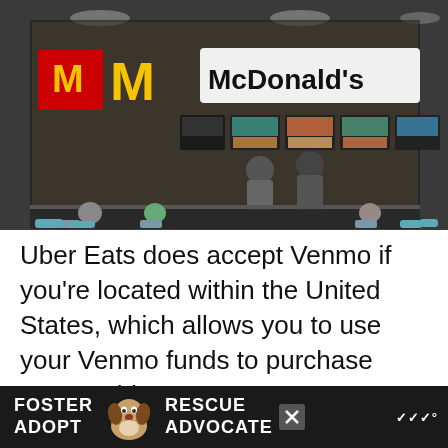[Figure (photo): Exterior view of a McDonald's restaurant storefront through glass windows. The upper section shows the illuminated McDonald's sign with golden arches logo, menu display boards, and staff/customers at the counter. The lower section shows the seating area with customers at tables and teal/turquoise chairs.]
Uber Eats does accept Venmo if you’re located within the United States, which allows you to use your Venmo funds to purchase McDonald’s.
[Figure (infographic): Advertisement banner with dark background. Left side reads 'FOSTER ADOPT' in bold white text. Center shows a beagle dog photo. Right side reads 'RESCUE ADVOCATE' in bold white text. Has a close/dismiss button. Far right shows a logo or app icon in white.]